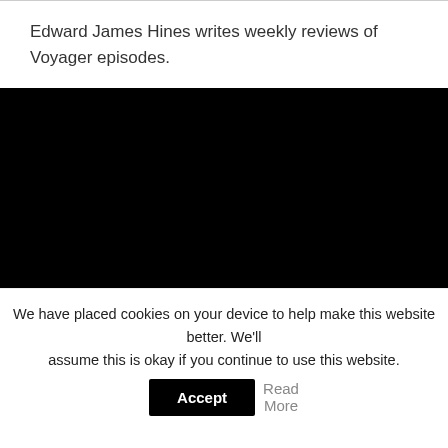Edward James Hines writes weekly reviews of Voyager episodes.
[Figure (other): Black rectangular area, likely a video embed placeholder]
We have placed cookies on your device to help make this website better. We'll assume this is okay if you continue to use this website. Accept Read More